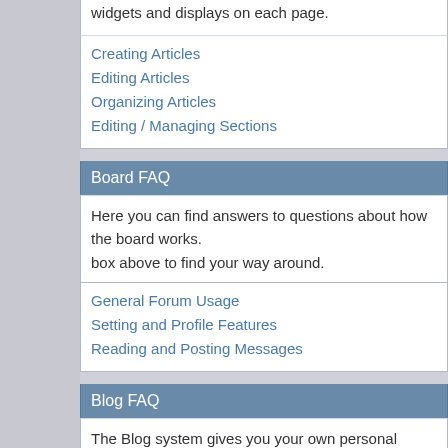widgets and displays on each page.
Creating Articles
Editing Articles
Organizing Articles
Editing / Managing Sections
Board FAQ
Here you can find answers to questions about how the board works. box above to find your way around.
General Forum Usage
Setting and Profile Features
Reading and Posting Messages
Blog FAQ
The Blog system gives you your own personal space at Design Sh... how the administrator has configured the blog, you will be able to c... who may view them.
General Blog Usage
Reading and Posting Entries
Group Blogs
Search FAQ
Search Word or Words: